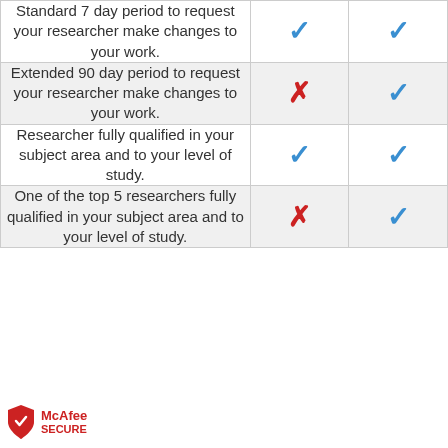| Feature | Standard | Premium |
| --- | --- | --- |
| Standard 7 day period to request your researcher make changes to your work. | ✓ | ✓ |
| Extended 90 day period to request your researcher make changes to your work. | ✗ | ✓ |
| Researcher fully qualified in your subject area and to your level of study. | ✓ | ✓ |
| One of the top 5 researchers fully qualified in your subject area and to your level of study. | ✗ | ✓ |
[Figure (logo): McAfee SECURE badge with red shield logo and red text]